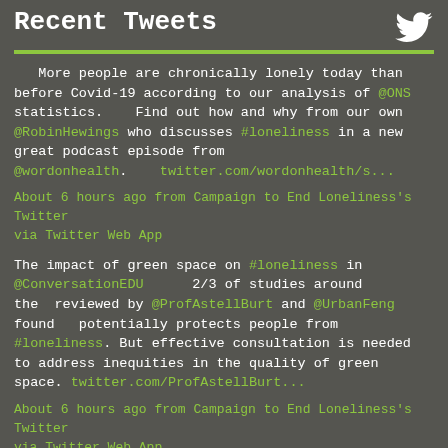Recent Tweets
More people are chronically lonely today than before Covid-19 according to our analysis of @ONS statistics.    Find out how and why from our own @RobinHewings who discusses #loneliness in a new great podcast episode from @wordonhealth.    twitter.com/wordonhealth/s...
About 6 hours ago from Campaign to End Loneliness's Twitter via Twitter Web App
The impact of green space on #loneliness in @ConversationEDU      2/3 of studies around the   reviewed by @ProfAstellBurt and @UrbanFeng found   potentially protects people from #loneliness. But effective consultation is needed to address inequities in the quality of green space. twitter.com/ProfAstellBurt...
About 6 hours ago from Campaign to End Loneliness's Twitter via Twitter Web App